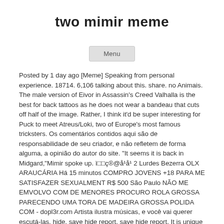two mimir meme
[Figure (other): Menu button UI element]
Posted by 1 day ago [Meme] Speaking from personal experience. 18714. 6,106 talking about this. share. no Animais. The male version of Eivor in Assassin's Creed Valhalla is the best for back tattoos as he does not wear a bandeau that cuts off half of the image. Rather, I think it'd be super interesting for Puck to meet Atreus/Loki, two of Europe's most famous tricksters. Os comentários contidos aqui são de responsabilidade de seu criador, e não refletem de forma alguma, a opinião do autor do site. "It seems it is back in Midgard,"Mimir spoke up. ì□□ç®@å¹å¹ 2 Lurdes Bezerra OLX ARAUCÁRIA Há 15 minutos COMPRO JOVENS +18 PARA ME SATISFAZER SEXUALMENT R$ 500 São Paulo NÃO ME EMVOLVO COM DE MENORES PROCURO ROLA GROSSA PARECENDO UMA TORA DE MADEIRA GROSSA POLIDA COM - dopl3r.com Artista ilustra músicas, e você vai querer escutá-las. hide. save hide report. save hide report. It is unique from the other designs because it looks to be two tattoos in one. 53 comments. save. You have the array of curled lines on the right half of his body, and a large circular tattoo on the bottom left half of his torso. rafo a mimir â¡ tang. It was so popular that business owners sometimes put up signs asking people not to throwâ¦ 1.8k. two mimir. Know Your